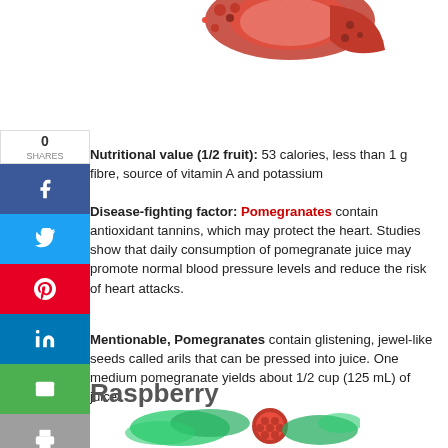[Figure (photo): Pomegranate fruit image at top of page]
0
SHARES
Nutritional value (1/2 fruit): 53 calories, less than 1 g fibre, source of vitamin A and potassium
Disease-fighting factor: Pomegranates contain antioxidant tannins, which may protect the heart. Studies show that daily consumption of pomegranate juice may promote normal blood pressure levels and reduce the risk of heart attacks.
Mentionable, Pomegranates contain glistening, jewel-like seeds called arils that can be pressed into juice. One medium pomegranate yields about 1/2 cup (125 mL) of juice.
Raspberry
[Figure (photo): Raspberry fruit image at bottom of page]